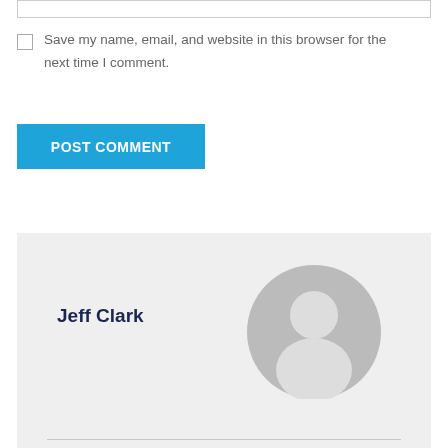[Figure (screenshot): Top input bar (text field, partially visible)]
[Figure (screenshot): Checkbox (unchecked)]
Save my name, email, and website in this browser for the next time I comment.
[Figure (screenshot): Blue POST COMMENT button]
[Figure (screenshot): Author card with name Jeff Clark and placeholder avatar icon]